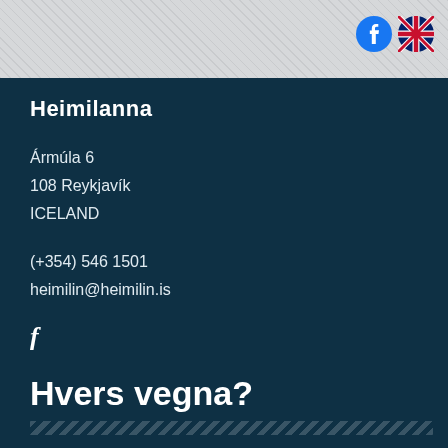Heimilanna
Ármúla 6
108 Reykjavík
ICELAND
(+354) 546 1501
heimilin@heimilin.is
[Figure (logo): Facebook 'f' social media icon]
Hvers vegna?
Til...